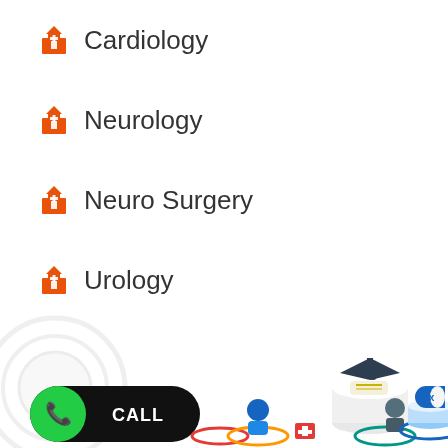Cardiology
Neurology
Neuro Surgery
Urology
[Figure (illustration): Bottom UI illustration showing a call button (green phone icon with black CALL label), a graduation cap with diploma on a white platform, a person figure with orange ring, a doctor figure with teal ring, and a blue pill capsule with Rx label on blue platform. Gray decorative rings on the left.]